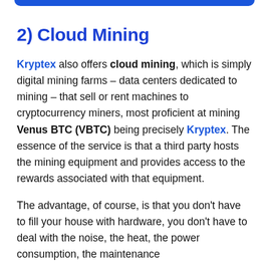2) Cloud Mining
Kryptex also offers cloud mining, which is simply digital mining farms – data centers dedicated to mining – that sell or rent machines to cryptocurrency miners, most proficient at mining Venus BTC (VBTC) being precisely Kryptex. The essence of the service is that a third party hosts the mining equipment and provides access to the rewards associated with that equipment.
The advantage, of course, is that you don't have to fill your house with hardware, you don't have to deal with the noise, the heat, the power consumption, the maintenance